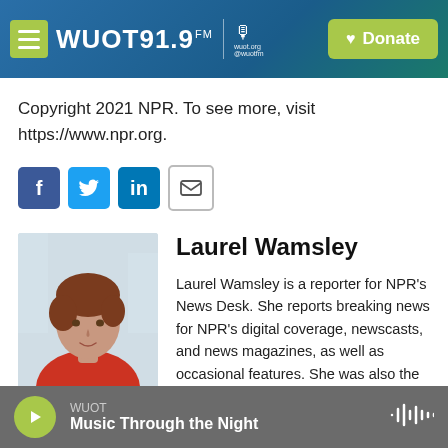[Figure (screenshot): WUOT 91.9 FM radio station website header with hamburger menu, logo, microphone icon, and green Donate button on blue-green gradient background]
Copyright 2021 NPR. To see more, visit https://www.npr.org.
[Figure (infographic): Social share buttons: Facebook (blue), Twitter (blue), LinkedIn (blue), Email (white outline)]
[Figure (photo): Headshot photo of Laurel Wamsley, a woman with short reddish-brown hair wearing a red sleeveless top, in front of a blurred light background]
Laurel Wamsley
Laurel Wamsley is a reporter for NPR's News Desk. She reports breaking news for NPR's digital coverage, newscasts, and news magazines, as well as occasional features. She was also the lead reporter for NPR's coverage of the 2019 Women's
WUOT
Music Through the Night